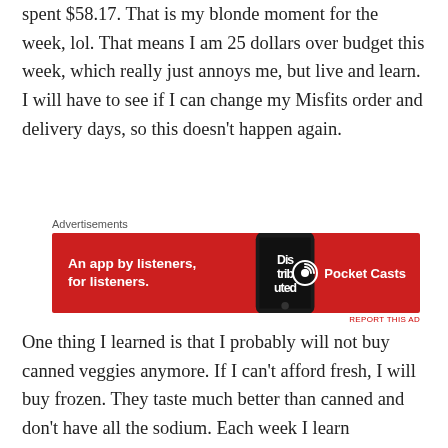spent $58.17. That is my blonde moment for the week, lol. That means I am 25 dollars over budget this week, which really just annoys me, but live and learn. I will have to see if I can change my Misfits order and delivery days, so this doesn't happen again.
[Figure (infographic): Pocket Casts advertisement banner. Red background with text 'An app by listeners, for listeners.' on the left, a phone in the center showing 'Distributed', and the Pocket Casts logo on the right.]
One thing I learned is that I probably will not buy canned veggies anymore. If I can't afford fresh, I will buy frozen. They taste much better than canned and don't have all the sodium. Each week I learn something new and it helps me to buy smarter for our needs, and avoid waste. Below you will see what I purchased from Walmart this week for $58.17. We still have a good